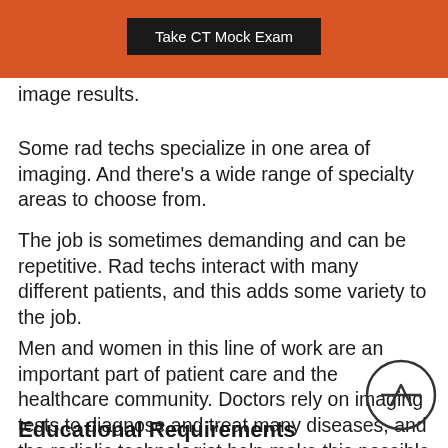Take CT Mock Exam
image results.
Some rad techs specialize in one area of imaging. And there's a wide range of specialty areas to choose from.
The job is sometimes demanding and can be repetitive. Rad techs interact with many different patients, and this adds some variety to the job.
Men and women in this line of work are an important part of patient care and the healthcare community. Doctors rely on imaging tests to diagnose and treat many diseases, and the radiolic technologist help make this possible each day.
Educational Requirements